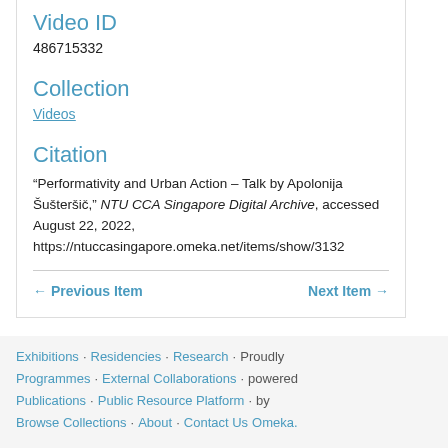Video ID
486715332
Collection
Videos
Citation
“Performativity and Urban Action – Talk by Apolonija Šušteršič,” NTU CCA Singapore Digital Archive, accessed August 22, 2022, https://ntuccasingapore.omeka.net/items/show/3132
← Previous Item    Next Item →
Exhibitions · Residencies · Research · Proudly Programmes · External Collaborations · powered Publications · Public Resource Platform · by Browse Collections · About · Contact Us Omeka.